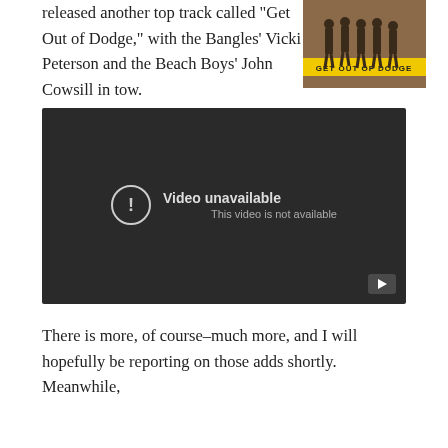released another top track called “Get Out of Dodge,” with the Bangles’ Vicki Peterson and the Beach Boys’ John Cowsill in tow.
[Figure (photo): Album cover for 'Get Out of Dodge' showing a group of people standing outside with a yellow banner reading 'GET OUT OF DODGE' at the bottom]
[Figure (screenshot): Embedded YouTube video player showing 'Video unavailable - This video is not available' message on a dark background]
There is more, of course–much more, and I will hopefully be reporting on those adds shortly. Meanwhile,